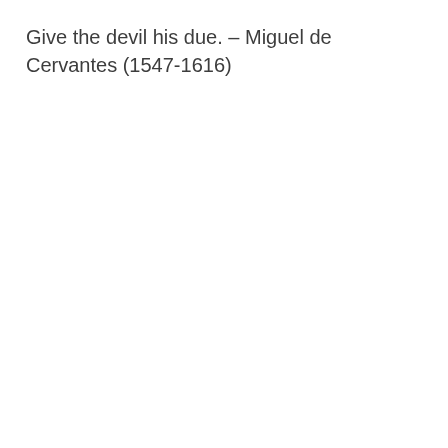Give the devil his due. – Miguel de Cervantes (1547-1616)